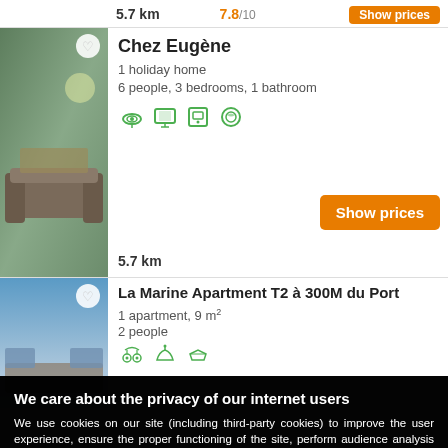5.7 km   7.8/10
Chez Eugène
1 holiday home
6 people, 3 bedrooms, 1 bathroom
5.7 km
La Marine Apartment T2 à 300M du Port
1 apartment, 9 m²
2 people
We care about the privacy of our internet users
We use cookies on our site (including third-party cookies) to improve the user experience, ensure the proper functioning of the site, perform audience analysis and provide you with the most appropriate advertising offers.
To benefit from the best experience, you can accept these cookies by clicking on "Accept", refuse all cookies by clicking on "Decline" or personalize your choice by clicking on "Settings".